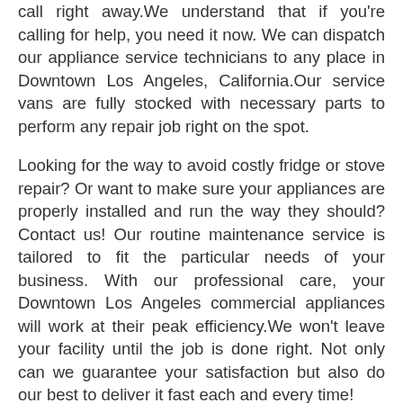call right away.We understand that if you're calling for help, you need it now. We can dispatch our appliance service technicians to any place in Downtown Los Angeles, California.Our service vans are fully stocked with necessary parts to perform any repair job right on the spot.
Looking for the way to avoid costly fridge or stove repair? Or want to make sure your appliances are properly installed and run the way they should? Contact us! Our routine maintenance service is tailored to fit the particular needs of your business. With our professional care, your Downtown Los Angeles commercial appliances will work at their peak efficiency.We won't leave your facility until the job is done right. Not only can we guarantee your satisfaction but also do our best to deliver it fast each and every time!